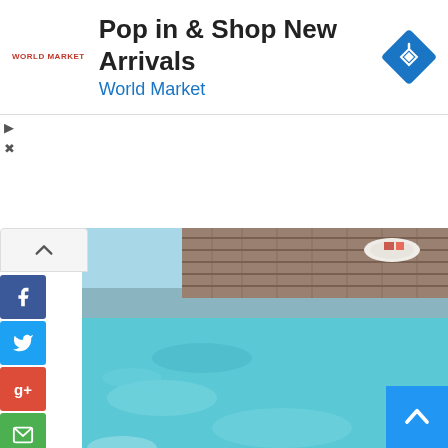[Figure (screenshot): Advertisement banner for World Market: 'Pop in & Shop New Arrivals' with World Market logo and navigation icon]
[Figure (photo): Social media sharing sidebar with Facebook, Twitter, Google+, Email, and Phone buttons, and a share count of 0]
[Figure (photo): Photo of a swimming pool with wooden deck and a plate with items on the edge]
[Figure (photo): Photo of a rustic wooden pallet chair against a grey background, with a scroll-to-top button in the bottom right corner]